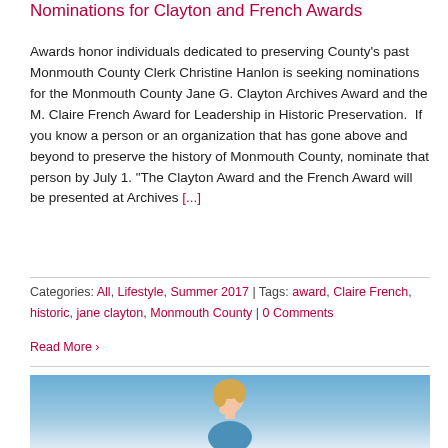Nominations for Clayton and French Awards
Awards honor individuals dedicated to preserving County's past Monmouth County Clerk Christine Hanlon is seeking nominations for the Monmouth County Jane G. Clayton Archives Award and the M. Claire French Award for Leadership in Historic Preservation.  If you know a person or an organization that has gone above and beyond to preserve the history of Monmouth County, nominate that person by July 1. "The Clayton Award and the French Award will be presented at Archives [...]
Categories: All, Lifestyle, Summer 2017 | Tags: award, Claire French, historic, jane clayton, Monmouth County | 0 Comments
Read More >
[Figure (photo): Photograph of a blonde woman looking down, against a blue sky background]